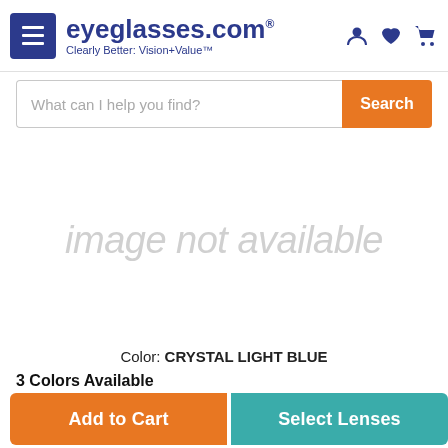eyeglasses.com Clearly Better: Vision+Value
[Figure (screenshot): Search bar with placeholder text 'What can I help you find?' and orange Search button]
[Figure (photo): image not available placeholder]
Color: CRYSTAL LIGHT BLUE
3 Colors Available
[Figure (screenshot): Add to Cart (orange) and Select Lenses (teal) buttons]